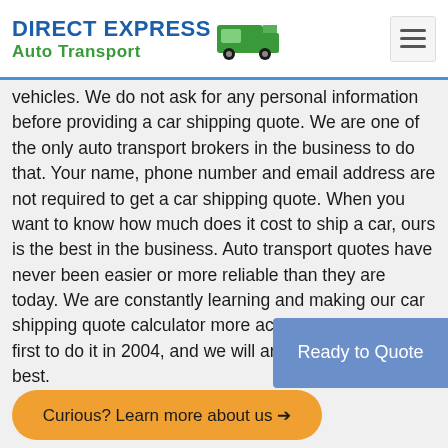DIRECT EXPRESS Auto Transport
vehicles. We do not ask for any personal information before providing a car shipping quote. We are one of the only auto transport brokers in the business to do that. Your name, phone number and email address are not required to get a car shipping quote. When you want to know how much does it cost to ship a car, ours is the best in the business. Auto transport quotes have never been easier or more reliable than they are today. We are constantly learning and making our car shipping quote calculator more accurate. We were the first to do it in 2004, and we will argue we are still the best.
Ready to Quote
Curious? Learn more about us →